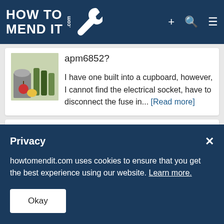HOW TO MEND IT .com
apm6852?
I have one built into a cupboard, however, I cannot find the electrical socket, have to disconnect the fuse in... [Read more]
Privacy
howtomendit.com uses cookies to ensure that you get the best experience using our website. Learn more.
Okay